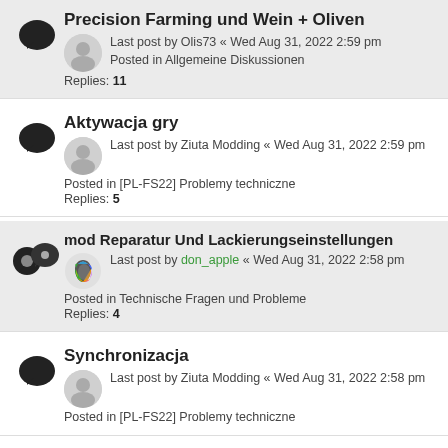Precision Farming und Wein + Oliven
Last post by Olis73 « Wed Aug 31, 2022 2:59 pm
Posted in Allgemeine Diskussionen
Replies: 11
Aktywacja gry
Last post by Ziuta Modding « Wed Aug 31, 2022 2:59 pm
Posted in [PL-FS22] Problemy techniczne
Replies: 5
mod Reparatur Und Lackierungseinstellungen
Last post by don_apple « Wed Aug 31, 2022 2:58 pm
Posted in Technische Fragen und Probleme
Replies: 4
Synchronizacja
Last post by Ziuta Modding « Wed Aug 31, 2022 2:58 pm
Posted in [PL-FS22] Problemy techniczne